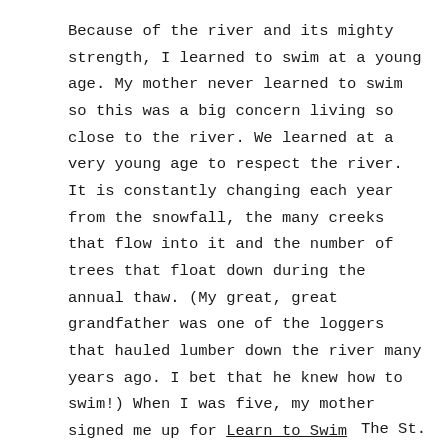Because of the river and its mighty strength, I learned to swim at a young age. My mother never learned to swim so this was a big concern living so close to the river. We learned at a very young age to respect the river. It is constantly changing each year from the snowfall, the many creeks that flow into it and the number of trees that float down during the annual thaw. (My great, great grandfather was one of the loggers that hauled lumber down the river many years ago. I bet that he knew how to swim!) When I was five, my mother signed me up for Learn to Swim classes, which was my first experience with the American Red Cross. My siblings and I continued to take swimming lessons until we passed the test to tread with our clothes and shoes on while blowing up our long sleeved shirt to serve as a life preserver.
The St.